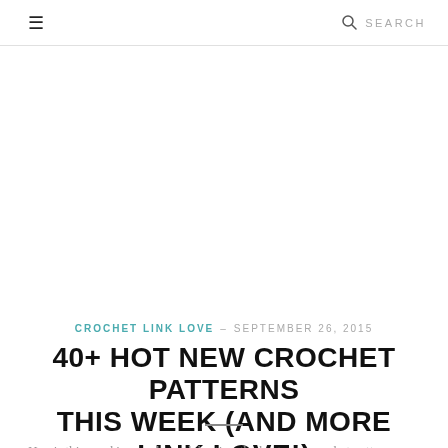≡  SEARCH
CROCHET LINK LOVE – SEPTEMBER 26, 2015
40+ HOT NEW CROCHET PATTERNS THIS WEEK (AND MORE LINK LOVE!)
Here's this week's roundup celebrating the best new crochet pattern releases, both free and for sale. You'll also find updates in